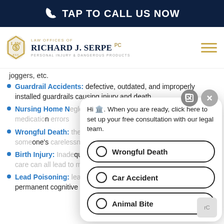TAP TO CALL US NOW
[Figure (logo): Law Offices of Richard J. Serpe PC - Personal Injury & Dangerous Products logo with gold emblem]
joggers, etc.
Guardrail Accidents: defective, outdated, and improperly installed guardrails causing injury and death
Nursing Home Neglect: falls, bed and pressure sores, medication errors
Wrongful Death: the wrongful death of a loved one due to someone's carelessness or negligence
Birth Injury: Inadequate care, defective drugs, and ineffective care can all lead to medical mistakes
Lead Poisoning: lead paint poisoning can cause long-term permanent cognitive injuries in children
[Figure (screenshot): Chat popup overlay with message 'Hi. When you are ready, click here to set up your free consultation with our legal team.' and radio button options: Wrongful Death, Car Accident, Animal Bite]